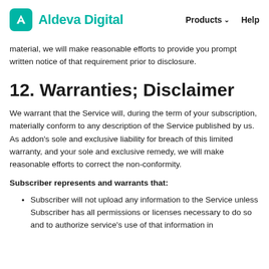Aldeva Digital  Products  Help
material, we will make reasonable efforts to provide you prompt written notice of that requirement prior to disclosure.
12. Warranties; Disclaimer
We warrant that the Service will, during the term of your subscription, materially conform to any description of the Service published by us. As addon's sole and exclusive liability for breach of this limited warranty, and your sole and exclusive remedy, we will make reasonable efforts to correct the non-conformity.
Subscriber represents and warrants that:
Subscriber will not upload any information to the Service unless Subscriber has all permissions or licenses necessary to do so and to authorize service's use of that information in